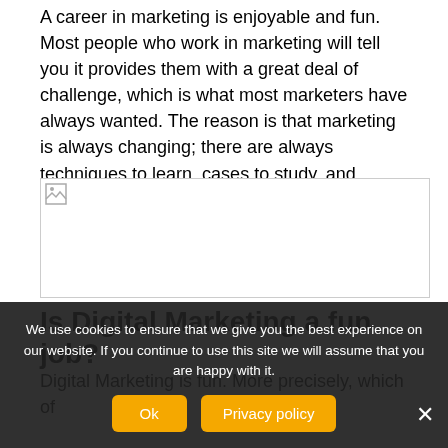A career in marketing is enjoyable and fun. Most people who work in marketing will tell you it provides them with a great deal of challenge, which is what most marketers have always wanted. The reason is that marketing is always changing; there are always techniques to learn, cases to study, and strategies to research.
[Figure (photo): Broken/missing image placeholder with small image icon in top-left corner]
Is Digital Marketing a fun job?
Digital Marketing is fun. More precisely, which of...
We use cookies to ensure that we give you the best experience on our website. If you continue to use this site we will assume that you are happy with it.